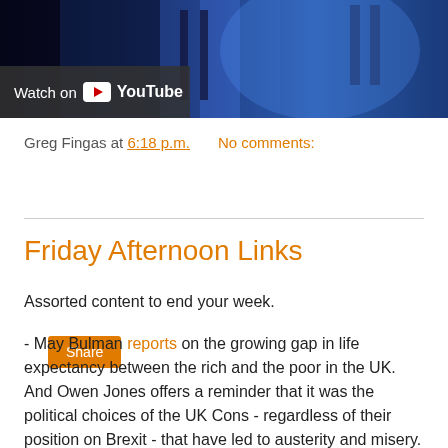[Figure (screenshot): YouTube video thumbnail showing a person in blue lighting with a 'Watch on YouTube' overlay button in the bottom-left corner]
Greg Fingas at 6:18 p.m.   No comments:
Share
Friday Afternoon Links
Assorted content to end your week.
- May Bulman reports on the growing gap in life expectancy between the rich and the poor in the UK. And Owen Jones offers a reminder that it was the political choices of the UK Cons - regardless of their position on Brexit - that have led to austerity and misery.